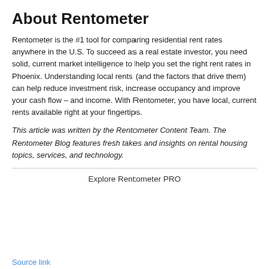About Rentometer
Rentometer is the #1 tool for comparing residential rent rates anywhere in the U.S. To succeed as a real estate investor, you need solid, current market intelligence to help you set the right rent rates in Phoenix. Understanding local rents (and the factors that drive them) can help reduce investment risk, increase occupancy and improve your cash flow – and income. With Rentometer, you have local, current rents available right at your fingertips.
This article was written by the Rentometer Content Team. The Rentometer Blog features fresh takes and insights on rental housing topics, services, and technology.
Explore Rentometer PRO
Source link